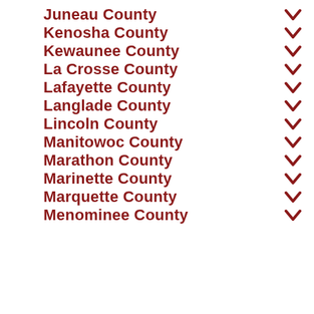Juneau County
Kenosha County
Kewaunee County
La Crosse County
Lafayette County
Langlade County
Lincoln County
Manitowoc County
Marathon County
Marinette County
Marquette County
Menominee County